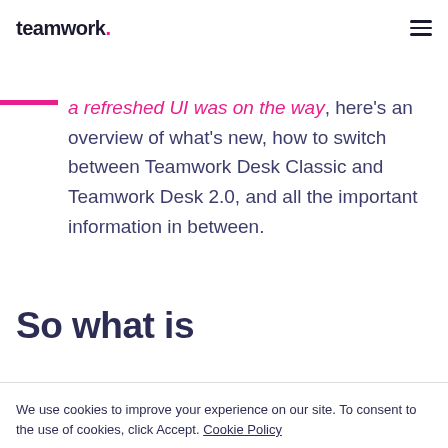teamwork.
a refreshed UI was on the way, here's an overview of what's new, how to switch between Teamwork Desk Classic and Teamwork Desk 2.0, and all the important information in between.
So what is
We use cookies to improve your experience on our site. To consent to the use of cookies, click Accept. Cookie Policy
Decline  Accept all cookies